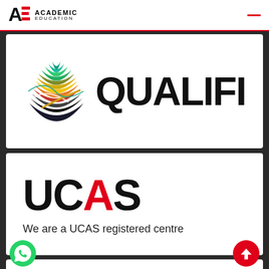[Figure (logo): Academic Education logo in header - stylized AE letters with 'ACADEMIC EDUCATION' text]
[Figure (logo): QUALIFI logo with colorful globe/sphere graphic on left and bold QUALIFI text on right]
[Figure (logo): UCAS logo with large bold UCAS text where A is red, followed by text 'We are a UCAS registered centre']
We are a UCAS registered centre
[Figure (logo): Partial view of British Council logo with blue circles and BRITISH text, partially cut off at bottom. WhatsApp green button on left, red up-arrow button on right.]